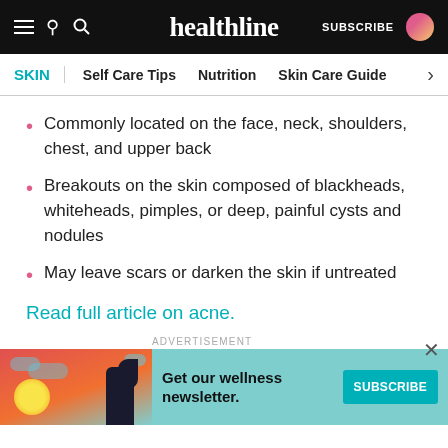healthline | SUBSCRIBE
SKIN | Self Care Tips | Nutrition | Skin Care Guide
Commonly located on the face, neck, shoulders, chest, and upper back
Breakouts on the skin composed of blackheads, whiteheads, pimples, or deep, painful cysts and nodules
May leave scars or darken the skin if untreated
Read full article on acne.
[Figure (infographic): Advertisement banner for wellness newsletter subscription with illustration of woman, text 'Get our wellness newsletter.' and a teal SUBSCRIBE button]